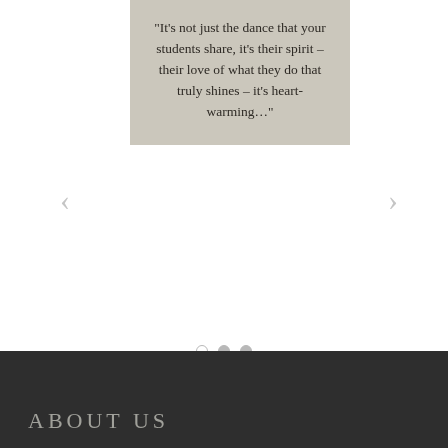"It’s not just the dance that your students share, it’s their spirit – their love of what they do that truly shines – it’s heart-warming…"
ABOUT US